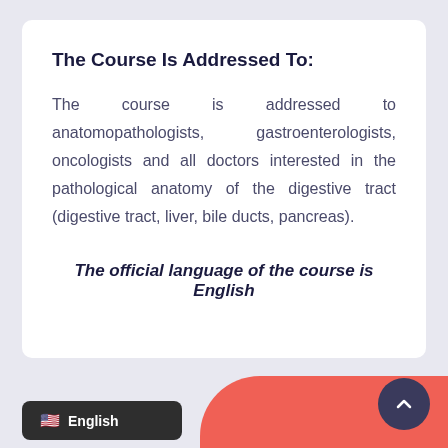The Course Is Addressed To:
The course is addressed to anatomopathologists, gastroenterologists, oncologists and all doctors interested in the pathological anatomy of the digestive tract (digestive tract, liver, bile ducts, pancreas).
The official language of the course is English